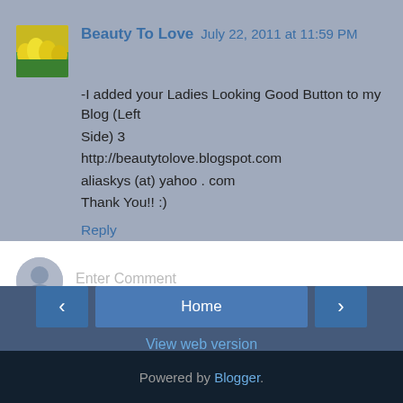Beauty To Love  July 22, 2011 at 11:59 PM
-I added your Ladies Looking Good Button to my Blog (Left Side) 3
http://beautytolove.blogspot.com
aliaskys (at) yahoo . com
Thank You!! :)
Reply
Enter Comment
Home
View web version
Powered by Blogger.